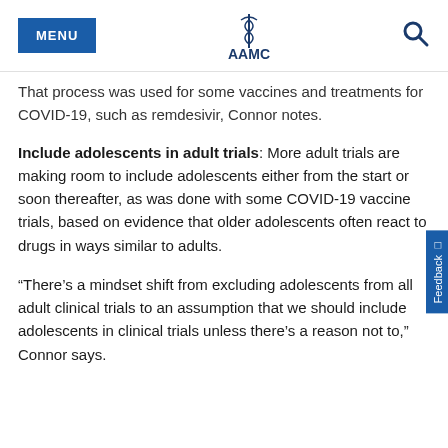MENU | AAMC
That process was used for some vaccines and treatments for COVID-19, such as remdesivir, Connor notes.
Include adolescents in adult trials: More adult trials are making room to include adolescents either from the start or soon thereafter, as was done with some COVID-19 vaccine trials, based on evidence that older adolescents often react to drugs in ways similar to adults.
“There’s a mindset shift from excluding adolescents from all adult clinical trials to an assumption that we should include adolescents in clinical trials unless there’s a reason not to,” Connor says.